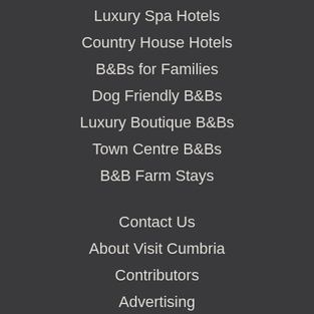Luxury Spa Hotels
Country House Hotels
B&Bs for Families
Dog Friendly B&Bs
Luxury Boutique B&Bs
Town Centre B&Bs
B&B Farm Stays
Contact Us
About Visit Cumbria
Contributors
Advertising
Terms & Conditions
Useful Links
Latest Changes